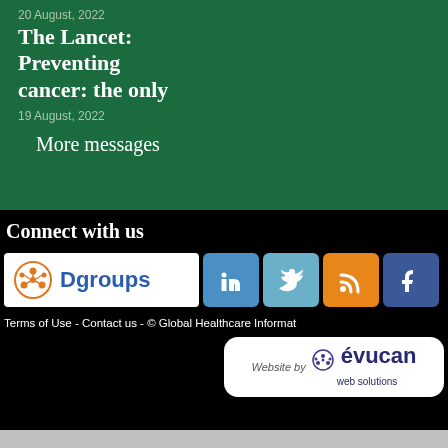20 August, 2022
The Lancet: Preventing cancer: the only
19 August, 2022
More messages
Connect with us
[Figure (logo): Dgroups logo - orange network icon with 'Dgroups' text in blue on white background]
[Figure (logo): LinkedIn icon - blue square with 'in']
[Figure (logo): Twitter icon - teal square with bird 't']
[Figure (logo): RSS feed icon - orange square with RSS symbol]
[Figure (logo): Facebook icon - dark blue square with 'f']
Terms of Use - Contact us - © Global Healthcare Informat
[Figure (logo): Website by evucan web solutions logo on white rounded rectangle]